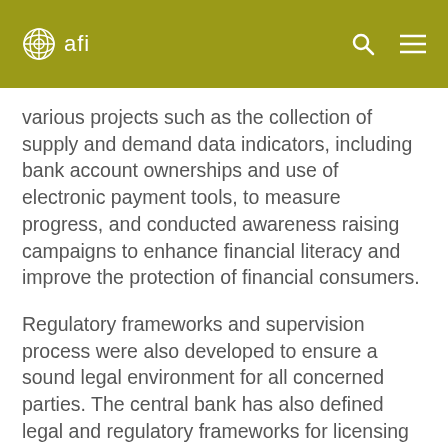afi
various projects such as the collection of supply and demand data indicators, including bank account ownerships and use of electronic payment tools, to measure progress, and conducted awareness raising campaigns to enhance financial literacy and improve the protection of financial consumers.
Regulatory frameworks and supervision process were also developed to ensure a sound legal environment for all concerned parties. The central bank has also defined legal and regulatory frameworks for licensing payment service providers and the work of their agents in encouraging financial inclusion through the provision of digital financial services. This is in addition to regulating the governance and institutional management of